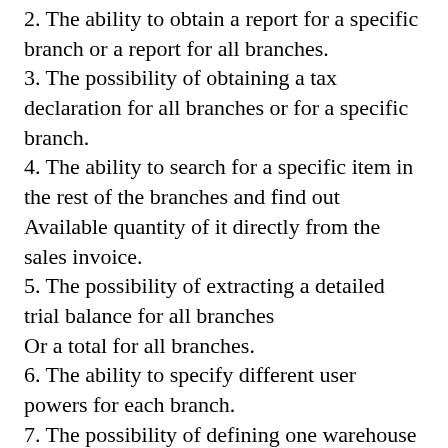2. The ability to obtain a report for a specific branch or a report for all branches.
3. The possibility of obtaining a tax declaration for all branches or for a specific branch.
4. The ability to search for a specific item in the rest of the branches and find out
Available quantity of it directly from the sales invoice.
5. The possibility of extracting a detailed trial balance for all branches
Or a total for all branches.
6. The ability to specify different user powers for each branch.
7. The possibility of defining one warehouse for all branches or for a group